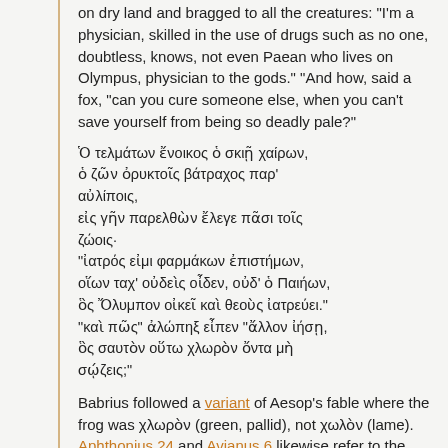on dry land and bragged to all the creatures: "I'm a physician, skilled in the use of drugs such as no one, doubtless, knows, not even Paean who lives on Olympus, physician to the gods." "And how, said a fox, "can you cure someone else, when you can't save yourself from being so deadly pale?"
Ὁ τελμάτων ἔνοικος ὁ σκιῇ χαίρων, ὁ ζῶν ὀρυκτοῖς βάτραχος παρ' αὐλίποις, εἰς γῆν παρελθὼν ἔλεγε πᾶσι τοῖς ζώοις· "ἰατρός εἰμι φαρμάκων ἐπιστήμων, οἵων ταχ' οὐδεὶς οἶδεν, οὐδ' ὁ Παιήων, ὃς Ὄλυμπον οἰκεῖ καὶ θεοὺς ἰατρεύει." "καὶ πῶς" ἀλώπηξ εἶπεν "ἄλλον ἰήσῃ, ὃς σαυτὸν οὕτω χλωρὸν ὄντα μὴ σῴζεις;"
Babrius followed a variant of Aesop's fable where the frog was χλωρὸν (green, pallid), not χωλὸν (lame). Aphthonius 24 and Avianus 6 likewise refer to the frog's color, not its gait. Cf. Genesis Rabbah 23 [15c]: "Physician, heal your own